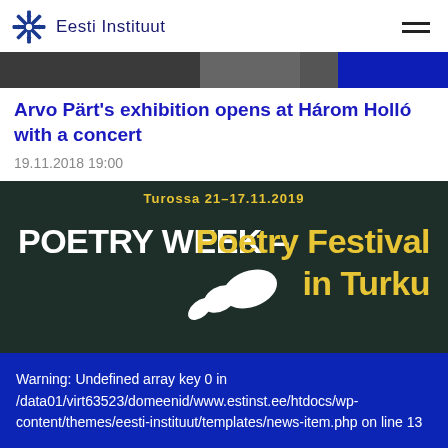Eesti Instituut
[Figure (photo): Top banner image strip with dark photo content and a blue rectangle on the right side]
Arvo Pärt's exhibition opens at Három Holló with a concert
19.11.2018 19:00
[Figure (photo): Poetry Week – Poetry Festival in Turku promotional poster with dark green background, yellow and white text, and a white silhouette figure]
Warning: Undefined array key 0 in /data01/virt63523/domeenid/www.estinst.ee/htdocs/wp-content/themes/eesti-instituut/templates/news-item.php on line 13